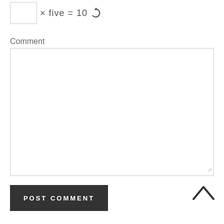[Figure (other): CAPTCHA widget showing an empty input box followed by the equation '× five = 10' and a circular refresh icon]
Comment
[Figure (other): Empty comment textarea input box with resize handle in bottom-right corner]
POST COMMENT